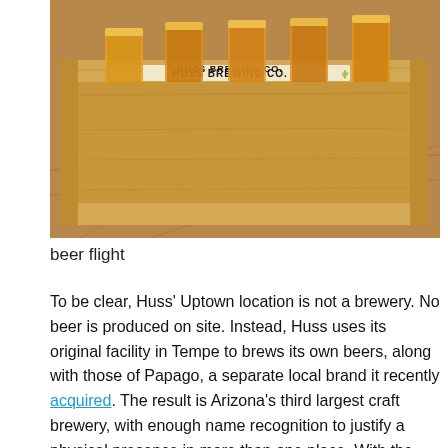[Figure (photo): A wooden Huss Brewing Co. beer flight tray holding several small glasses of amber beer, sitting on a wooden table. The tray has the text 'HUSS BREWING CO.' branded on it along with a logo and tagline.]
beer flight
To be clear, Huss' Uptown location is not a brewery. No beer is produced on site. Instead, Huss uses its original facility in Tempe to brews its own beers, along with those of Papago, a separate local brand it recently acquired. The result is Arizona's third largest craft brewery, with enough name recognition to justify a physical presence in more than one place. With the expansion to Uptown Plaza, there is the addition of food, making this